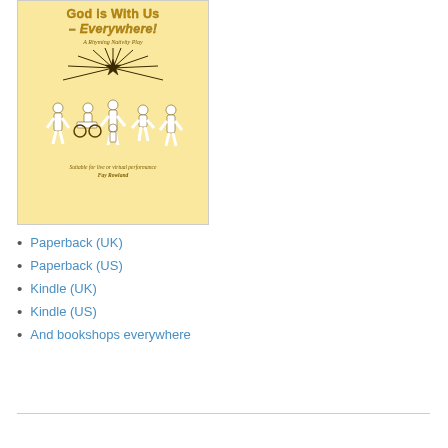[Figure (illustration): Book cover for 'God is With Us - Everywhere! A Rhyming Nativity Play' by Fay Rowland. Yellow/gold background with white silhouettes of people around a baby, and a star with rays at top. Text at bottom: 'Suitable for live or virtual performance. Fay Rowland.']
Paperback (UK)
Paperback (US)
Kindle (UK)
Kindle (US)
And bookshops everywhere